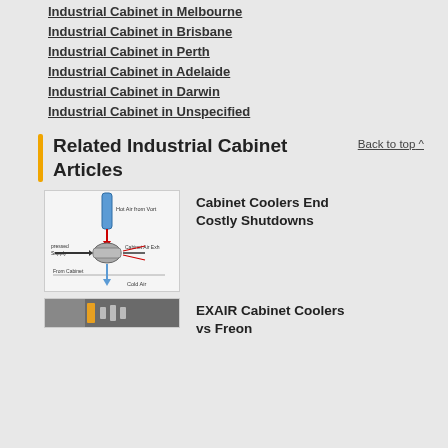Industrial Cabinet in Melbourne
Industrial Cabinet in Brisbane
Industrial Cabinet in Perth
Industrial Cabinet in Adelaide
Industrial Cabinet in Darwin
Industrial Cabinet in Unspecified
Related Industrial Cabinet Articles
Back to top ∧
[Figure (engineering-diagram): Diagram of a cabinet cooler showing hot air from vortex at top, compressed air supply input, cabinet air exhaust, cold air output at bottom, labeled 'From Cabinet']
Cabinet Coolers End Costly Shutdowns
[Figure (photo): Partial photo of EXAIR cabinet coolers]
EXAIR Cabinet Coolers vs Freon